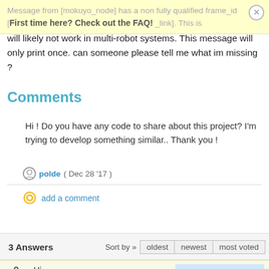First time here? Check out the FAQ!
will likely not work in multi-robot systems. This message will only print once. can someone please tell me what im missing ?
Comments
Hi ! Do you have any code to share about this project? I'm trying to develop something similar.. Thank you !
polde  ( Dec 28 '17 )
add a comment
3 Answers   Sort by »   oldest   newest   most voted
Hi,
If I've understood things correctly the tf name 'base_laser' and the frame ID in the laser nodes scan messages, 'laser_link', should be
answered Jan 30 '12
raahlb 317 ●6 ●13 ●21
updated Jan 30 '12